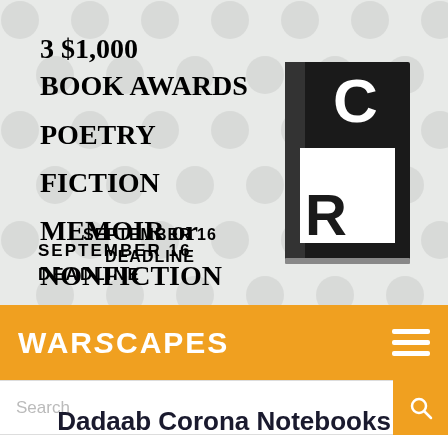[Figure (infographic): Book award advertisement banner with circle pattern background. Text reads '3 $1,000 BOOK AWARDS POETRY FICTION MEMOIR or NONFICTION SEPTEMBER 16 DEADLINE'. A black and white book with 'CR' logo is shown on the right side.]
WARSCAPES
Search
Dadaab Corona Notebooks